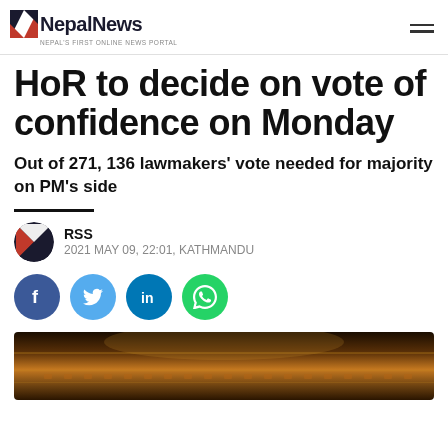NepalNews — NEPAL'S FIRST ONLINE NEWS PORTAL
HoR to decide on vote of confidence on Monday
Out of 271, 136 lawmakers' vote needed for majority on PM's side
RSS
2021 MAY 09, 22:01, KATHMANDU
[Figure (other): Social media share buttons: Facebook, Twitter, LinkedIn, WhatsApp]
[Figure (photo): Interior of a legislative hall/parliament building with warm golden lighting]